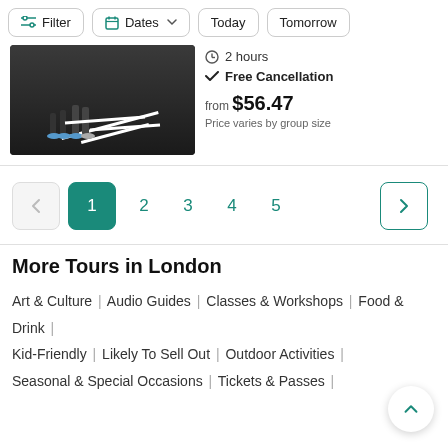Filter | Dates | Today | Tomorrow
[Figure (photo): Dark floor with people walking, white line markings on floor]
2 hours
Free Cancellation
from $56.47
Price varies by group size
1 2 3 4 5 (pagination)
More Tours in London
Art & Culture | Audio Guides | Classes & Workshops | Food & Drink |
Kid-Friendly | Likely To Sell Out | Outdoor Activities |
Seasonal & Special Occasions | Tickets & Passes |